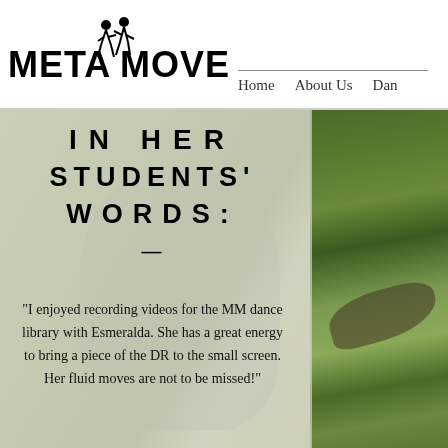[Figure (logo): Meta Movements logo with stylized dancing figure icon and bold text]
Home   About Us   Dan
[Figure (photo): Background image of person dancing outdoors with green foliage, overlaid with semi-transparent panel on left side]
IN HER STUDENTS' WORDS:
"I enjoyed recording videos for the MM dance library with Esmeralda. She has a great energy to bring a piece of the DR to the small screen. Her fluid moves are not to be missed!"